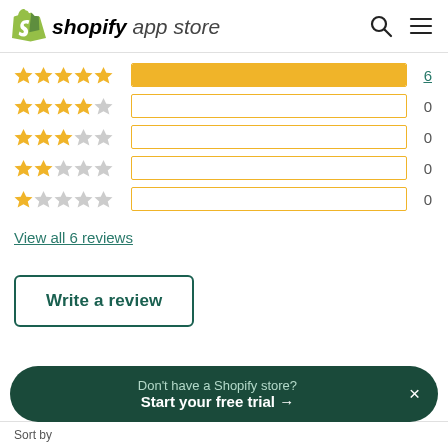shopify app store
[Figure (bar-chart): Star ratings distribution]
View all 6 reviews
Write a review
Don't have a Shopify store? Start your free trial →
Sort by